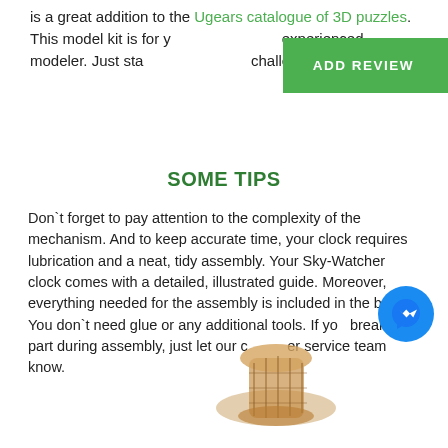is a great addition to the Ugears catalogue of 3D puzzles. This model kit is for y… experienced modeler. Just sta… challenge!
[Figure (other): Green ADD REVIEW button overlay in top right area]
SOME TIPS
Don`t forget to pay attention to the complexity of the mechanism. And to keep accurate time, your clock requires lubrication and a neat, tidy assembly. Your Sky-Watcher clock comes with a detailed, illustrated guide. Moreover, everything needed for the assembly is included in the box. You don`t need glue or any additional tools. If yo… break a part during assembly, just let our c…er service team know.
[Figure (other): Facebook Messenger blue chat icon floating over text]
[Figure (photo): Photo of Ugears Sky-Watcher 3D wooden puzzle clock model, partially visible at bottom of page]